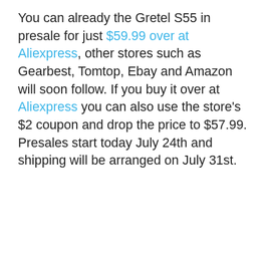You can already the Gretel S55 in presale for just $59.99 over at Aliexpress, other stores such as Gearbest, Tomtop, Ebay and Amazon will soon follow. If you buy it over at Aliexpress you can also use the store's $2 coupon and drop the price to $57.99. Presales start today July 24th and shipping will be arranged on July 31st.
ADVERTISEMENT
[Figure (other): Gray advertisement placeholder box]